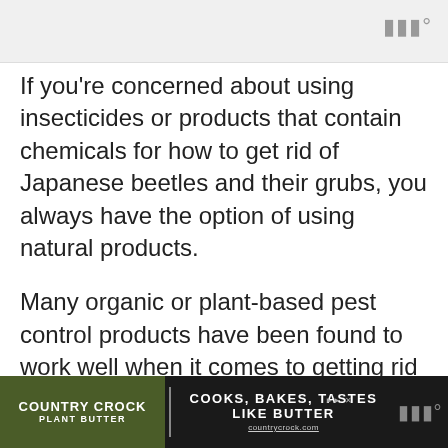WWW°
If you're concerned about using insecticides or products that contain chemicals for how to get rid of Japanese beetles and their grubs, you always have the option of using natural products.
Many organic or plant-based pest control products have been found to work well when it comes to getting rid of Japanese beetles, and they are often less harmful to the environment and pose less of a risk to
[Figure (other): Country Crock Plant Butter advertisement banner: 'COOKS, BAKES, TASTES LIKE BUTTER' with logo and WWW° icon]